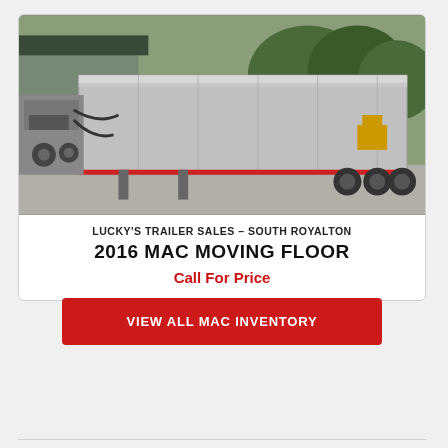[Figure (photo): A silver/aluminum moving floor trailer parked in a lot, photographed from the rear-left angle showing the hydraulic mechanism and trailer body extending to the right. Trees and a building visible in background.]
LUCKY'S TRAILER SALES – SOUTH ROYALTON
2016 MAC MOVING FLOOR
Call For Price
VIEW ALL MAC INVENTORY